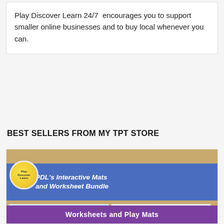Play Discover Learn 24/7 encourages you to support smaller online businesses and to buy local whenever you can.
BEST SELLERS FROM MY TPT STORE
[Figure (illustration): PDL's Interactive Mats and Worksheet Bundle promotional image showing a burlap background with a blue banner reading 'PDL's Interactive Mats and Worksheet Bundle', a Play Discover Learn logo circle, sample worksheet cards including a water activity mat with white lines, an Alice in Wonderland rabbit illustration with 'eat me' text, building equations worksheet, and a key-matching activity worksheet. Purple bottom banner reads 'Worksheets and Play Mats'.]